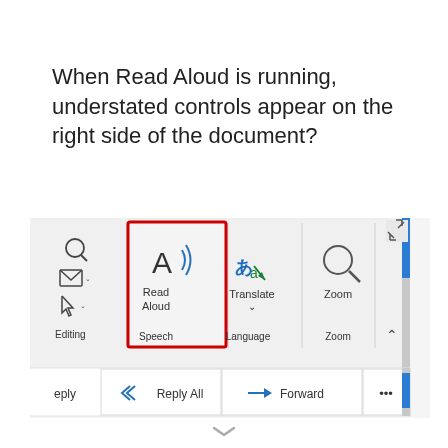When Read Aloud is running, understated controls appear on the right side of the document?
[Figure (screenshot): Screenshot of Microsoft Word ribbon showing Speech group with 'Read Aloud' button highlighted with a red border, alongside Translate and Zoom buttons. Below shows Reply All and Forward email controls. A blue vertical scrollbar is visible on the right.]